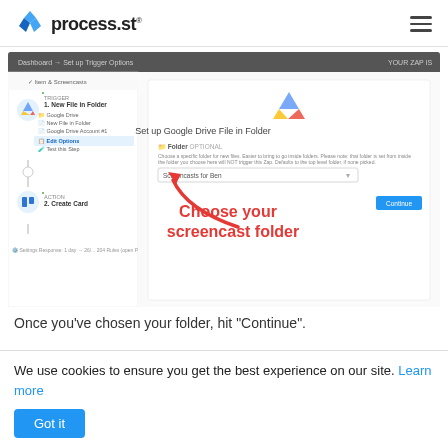process.st
[Figure (screenshot): Screenshot of a Zapier interface showing 'Set up Trigger Options' dialog with Google Drive 'New File in Folder' trigger configuration. A panel on the left shows steps including Google Drive, New File in Folder, Google Drive Account #1, Edit Options, Test this Step, and below an action step '2. Create Card'. On the right side shows 'Set up Google Drive File in Folder' with a Folder option selected as 'Screencasts for Ben'. A large red arrow points to the folder dropdown with red text reading 'Choose your screencast folder'. A blue 'Continue' button is visible on the right.]
Once you've chosen your folder, hit “Continue”.
We use cookies to ensure you get the best experience on our site. Learn more
Got it